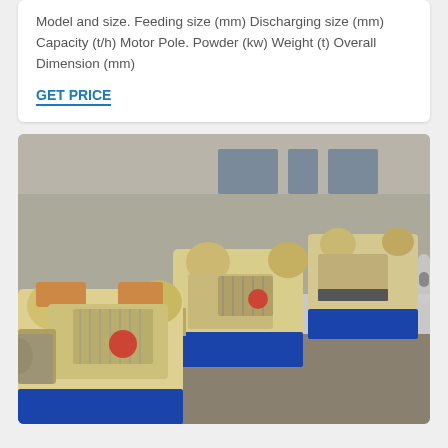Model and size. Feeding size (mm) Discharging size (mm) Capacity (t/h) Motor Pole. Powder (kw) Weight (t) Overall Dimension (mm)
GET PRICE
[Figure (photo): Outdoor industrial facility showing multiple jaw crusher machines lined up in rows. The machines have cream/beige-colored housings with blue metal base frames. Each unit has a hopper opening at the top and exposed motor/drive components on the side. Background shows a concrete block wall and building windows.]